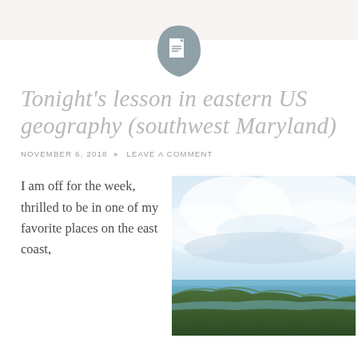[Figure (logo): DocLayNet or blog logo: dark grey teardrop/shield shape with a white document icon inside]
Tonight's lesson in eastern US geography (southwest Maryland)
NOVEMBER 6, 2018 • LEAVE A COMMENT
I am off for the week, thrilled to be in one of my favorite places on the east coast,
[Figure (photo): Coastal landscape photo showing dramatic cloudy sky over green cliffs and blue ocean water]